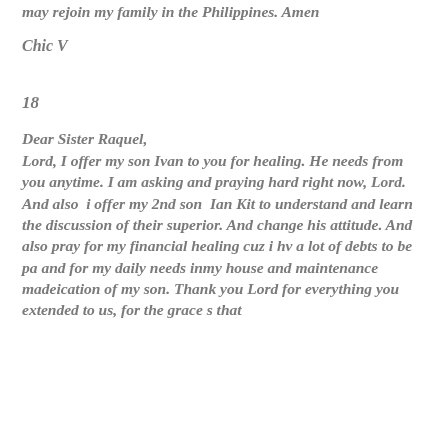may rejoin my family in the Philippines. Amen
Chic V
18
Dear Sister Raquel,
Lord, I offer my son Ivan to you for healing. He needs from you anytime. I am asking and praying hard right now, Lord. And also  i offer my 2nd son  Ian Kit to understand and learn the discussion of their superior. And change his attitude. And also pray for my financial healing cuz i hv a lot of debts to be pa and for my daily needs inmy house and maintenance madeication of my son. Thank you Lord for everything you extended to us, for the grace s that